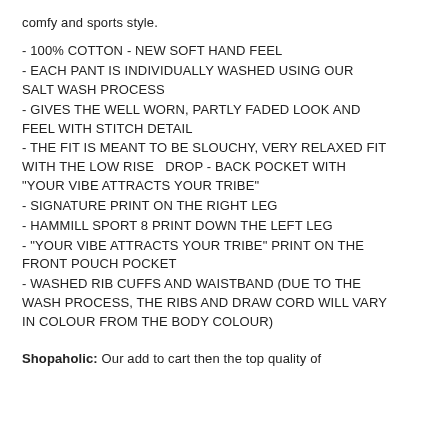comfy and sports style.
- 100% COTTON - NEW SOFT HAND FEEL
- EACH PANT IS INDIVIDUALLY WASHED USING OUR SALT WASH PROCESS
- GIVES THE WELL WORN, PARTLY FADED LOOK AND FEEL WITH STITCH DETAIL
- THE FIT IS MEANT TO BE SLOUCHY, VERY RELAXED FIT WITH THE LOW RISE   DROP - BACK POCKET WITH "YOUR VIBE ATTRACTS YOUR TRIBE"
- SIGNATURE PRINT ON THE RIGHT LEG
- HAMMILL SPORT 8 PRINT DOWN THE LEFT LEG
- "YOUR VIBE ATTRACTS YOUR TRIBE" PRINT ON THE FRONT POUCH POCKET
- WASHED RIB CUFFS AND WAISTBAND (DUE TO THE WASH PROCESS, THE RIBS AND DRAW CORD WILL VARY IN COLOUR FROM THE BODY COLOUR)
Shopaholic: Our add to cart then the top quality of